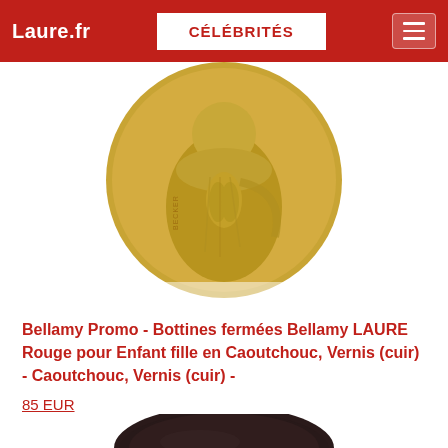Laure.fr | CÉLÉBRITÉS
[Figure (photo): Gold medal with relief sculpture of a figure with hands clasped in prayer, text 'BECKER' visible on the side]
Bellamy Promo - Bottines fermées Bellamy LAURE Rouge pour Enfant fille en Caoutchouc, Vernis (cuir) - Caoutchouc, Vernis (cuir) -
85 EUR
[Figure (photo): Dark brown/black children's boot shoe, partially visible at bottom of page]